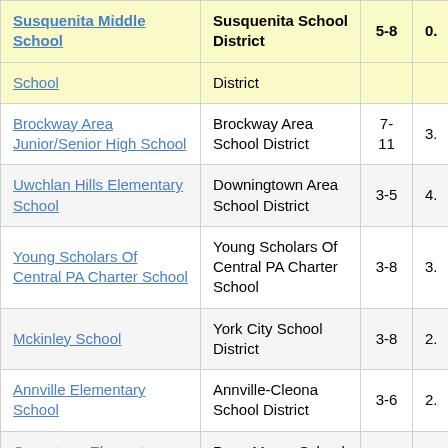| School | District | Grades | Score |
| --- | --- | --- | --- |
| Susquenita Middle School | Susquenita School District | 5-8 | 0. |
| School | District |  |  |
| Brockway Area Junior/Senior High School | Brockway Area School District | 7-11 | 3. |
| Uwchlan Hills Elementary School | Downingtown Area School District | 3-5 | 4. |
| Young Scholars Of Central PA Charter School | Young Scholars Of Central PA Charter School | 3-8 | 3. |
| Mckinley School | York City School District | 3-8 | 2. |
| Annville Elementary School | Annville-Cleona School District | 3-6 | 2. |
| Conestoga Elementary School | Penn Manor School District | 3-6 | 4. |